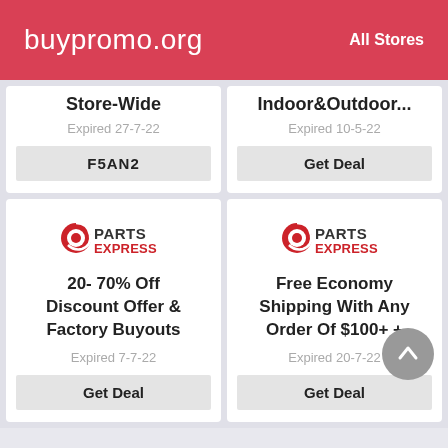buypromo.org   All Stores
Store-Wide
Expired 27-7-22
F5AN2
Indoor&Outdoor...
Expired 10-5-22
Get Deal
[Figure (logo): Parts Express logo]
20- 70% Off Discount Offer & Factory Buyouts
Expired 7-7-22
Get Deal
[Figure (logo): Parts Express logo]
Free Economy Shipping With Any Order Of $100+ +
Expired 20-7-22
Get Deal